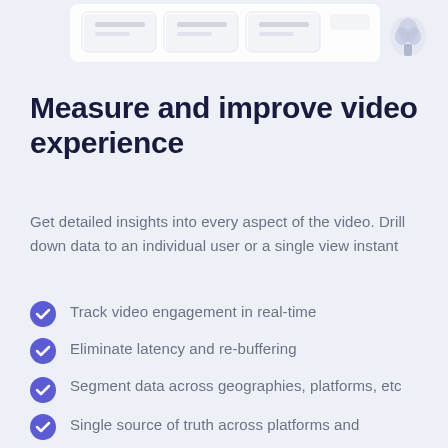[Figure (screenshot): Partial screenshot of a dashboard UI showing panels with blurred/placeholder content and a small plant icon on the right]
Measure and improve video experience
Get detailed insights into every aspect of the video. Drill down data to an individual user or a single view instant
Track video engagement in real-time
Eliminate latency and re-buffering
Segment data across geographies, platforms, etc
Single source of truth across platforms and